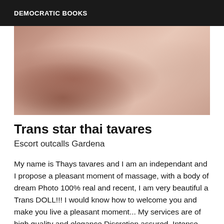DEMOCRATIC BOOKS
[Figure (photo): Close-up skin texture photo in pinkish-beige tones]
Trans star thai tavares
Escort outcalls Gardena
My name is Thays tavares and I am an independant and I propose a pleasant moment of massage, with a body of dream Photo 100% real and recent, I am very beautiful a Trans DOLL!!! I would know how to welcome you and make you live a pleasant moment... My services are of high quality and elegance Discretion assured. Intense gaze and a mischievous smile... Your satisfaction is very important to me, I do everything I can to leave you